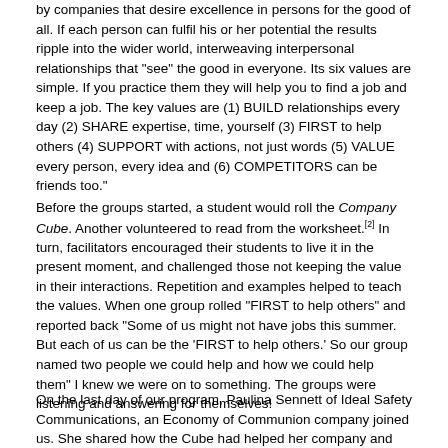by companies that desire excellence in persons for the good of all. If each person can fulfil his or her potential the results ripple into the wider world, interweaving interpersonal relationships that "see" the good in everyone. Its six values are simple. If you practice them they will help you to find a job and keep a job. The key values are (1) BUILD relationships every day (2) SHARE expertise, time, yourself (3) FIRST to help others (4) SUPPORT with actions, not just words (5) VALUE every person, every idea and (6) COMPETITORS can be friends too."
Before the groups started, a student would roll the Company Cube. Another volunteered to read from the worksheet.[2] In turn, facilitators encouraged their students to live it in the present moment, and challenged those not keeping the value in their interactions. Repetition and examples helped to teach the values. When one group rolled "FIRST to help others" and reported back "Some of us might not have jobs this summer. But each of us can be the 'FIRST to help others.' So our group named two people we could help and how we could help them" I knew we were on to something. The groups were listening and answering for themselves!
On the last day of our program, Paulina Sennett of Ideal Safety Communications, an Economy of Communion company joined us. She shared how the Cube had helped her company and made a